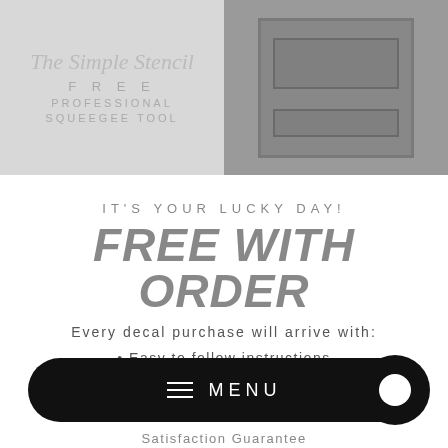[Figure (photo): Two side-by-side images: left shows a squeegee tool product image with text 'FREE PROFESSIONAL SQUEEGEE TOOL', right shows a dark door photo]
IT'S YOUR LUCKY DAY!
FREE WITH ORDER
Every decal purchase will arrive with:
• Easy to follow instructions
• "Welcome" - Practice Decal
[Figure (other): Bottom navigation bar with hamburger menu icon and MENU text, and chat button on the right]
Satisfaction Guarantee